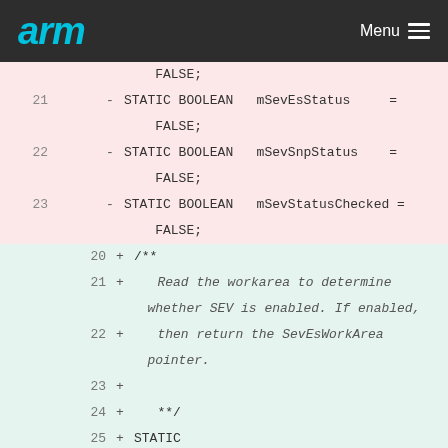arm  Menu
[Figure (screenshot): Code diff view showing removed lines 21-23 with STATIC BOOLEAN declarations (mSevEsStatus, mSevSnpStatus, mSevStatusChecked = FALSE) in pink background, and added lines 20-30 in green background showing a new GetSevEsWorkArea function with doc comment and STATIC SEC_SEV_ES_WORK_AREA * EFIAPI declaration]